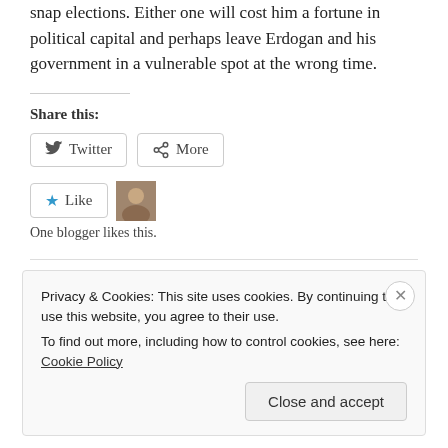snap elections. Either one will cost him a fortune in political capital and perhaps leave Erdogan and his government in a vulnerable spot at the wrong time.
Share this:
[Figure (screenshot): Twitter share button and More share button]
[Figure (screenshot): Like button with blue star icon, and an avatar thumbnail. Text below: One blogger likes this.]
One blogger likes this.
Privacy & Cookies: This site uses cookies. By continuing to use this website, you agree to their use.
To find out more, including how to control cookies, see here: Cookie Policy
Close and accept